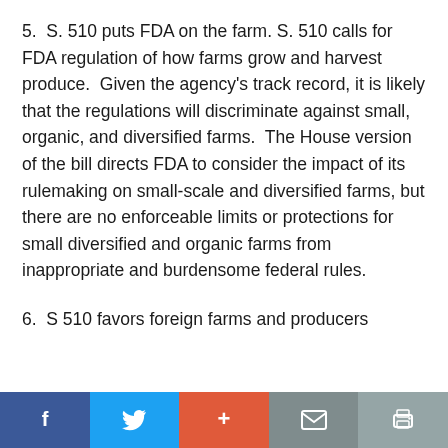5.  S. 510 puts FDA on the farm. S. 510 calls for FDA regulation of how farms grow and harvest produce.  Given the agency's track record, it is likely that the regulations will discriminate against small, organic, and diversified farms.  The House version of the bill directs FDA to consider the impact of its rulemaking on small-scale and diversified farms, but there are no enforceable limits or protections for small diversified and organic farms from inappropriate and burdensome federal rules.
6.  S 510 favors foreign farms and producers
Social share bar: Facebook, Twitter, Plus, Email, Print